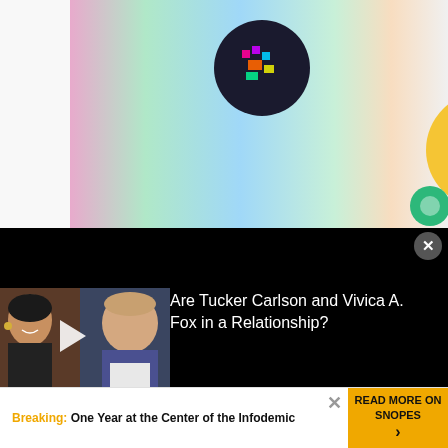[Figure (screenshot): Colorful website UI showing rainbow gradient banner strips with circular icons including dark circle with pixel art, yellow circle with path/route icon, gray circle with media icon, green small circle, teal circle with heart emoji, and yellow half-circle. Star/bookmark icon visible.]
Become A Member
Your membership is the foundation of our sustainability and resilience.
[Figure (photo): Advertisement overlay showing photo of a woman and a man on a dark background with text 'Are Tucker Carlson and Vivica A. Fox in a Relationship?' and a play button. Close button (X) in top right.]
Are Tucker Carlson and Vivica A. Fox in a Relationship?
Breaking: One Year at the Center of the Infodemic
READ MORE ON SNOPES